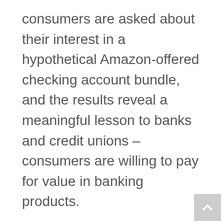consumers are asked about their interest in a hypothetical Amazon-offered checking account bundle, and the results reveal a meaningful lesson to banks and credit unions – consumers are willing to pay for value in banking products.
Nearly half of 30-something Millennials said they would pay $5-10 a month for an Amazon checking account, including cell phone protection, ID theft protection, roadside assistance, travel insurance and product discounts. Less people from all age segments (Millennials, Gen Xers and Boomers) said they would open a free checking account from Amazon than they...